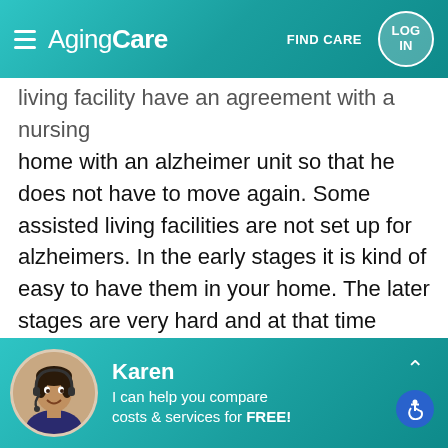AgingCare — FIND CARE — LOG IN
living facility have an agreement with a nursing home with an alzheimer unit so that he does not have to move again. Some assisted living facilities are not set up for alzheimers. In the early stages it is kind of easy to have them in your home. The later stages are very hard and at that time moving someone into a nursing home can be difficult because of the dementia. Every situation is different and all that you can do is be very very honest with yourself and get as much information as you can before you make the decision. It is not easy to have someone with dementia in your home but it can be
[Figure (photo): Chat agent avatar: woman with headset smiling]
Karen
I can help you compare costs & services for FREE!